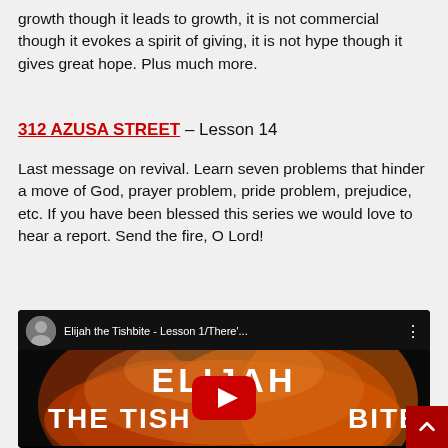growth though it leads to growth, it is not commercial though it evokes a spirit of giving, it is not hype though it gives great hope. Plus much more.
312 AZUSA STREET – Lesson 14
Last message on revival. Learn seven problems that hinder a move of God, prayer problem, pride problem, prejudice, etc. If you have been blessed this series we would love to hear a report. Send the fire, O Lord!
[Figure (screenshot): YouTube video thumbnail for 'Elijah the Tishbite - Lesson 1/There'...' showing large white bold text 'ELIJAH THE TISHBITE' over a fiery background with a YouTube play button in the center. Video header shows a circular avatar and title text.]